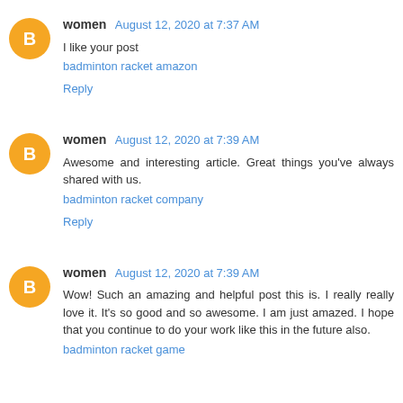women August 12, 2020 at 7:37 AM
I like your post
badminton racket amazon
Reply
women August 12, 2020 at 7:39 AM
Awesome and interesting article. Great things you've always shared with us.
badminton racket company
Reply
women August 12, 2020 at 7:39 AM
Wow! Such an amazing and helpful post this is. I really really love it. It's so good and so awesome. I am just amazed. I hope that you continue to do your work like this in the future also.
badminton racket game